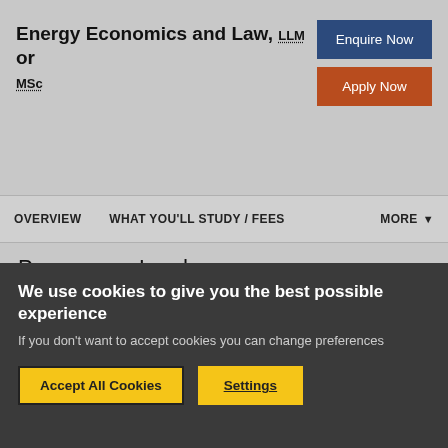Energy Economics and Law, LLM or MSc
Programme Leader
Yakubu Abdul-Salam
You will be taught by a range of experts including professors, lecturers, teaching fellows and postgraduate tutors. Staff changes will occur from time to time: please
We use cookies to give you the best possible experience
If you don't want to accept cookies you can change preferences